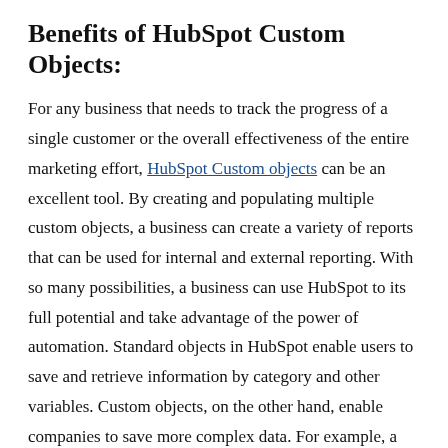Benefits of HubSpot Custom Objects:
For any business that needs to track the progress of a single customer or the overall effectiveness of the entire marketing effort, HubSpot Custom objects can be an excellent tool. By creating and populating multiple custom objects, a business can create a variety of reports that can be used for internal and external reporting. With so many possibilities, a business can use HubSpot to its full potential and take advantage of the power of automation. Standard objects in HubSpot enable users to save and retrieve information by category and other variables. Custom objects, on the other hand, enable companies to save more complex data. For example, a business can use a custom object to store vendor and product information for automated email marketing. These custom objects can be easily associated with standard objects so that they are used in the same way. And because